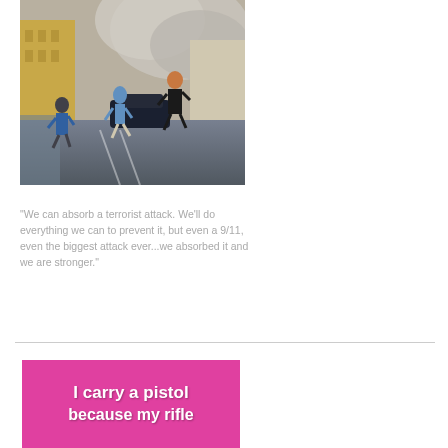[Figure (photo): People running in a city street with a large dust/smoke cloud billowing behind buildings, reminiscent of a 9/11-type event]
"We can absorb a terrorist attack. We'll do everything we can to prevent it, but even a 9/11, even the biggest attack ever...we absorbed it and we are stronger."
[Figure (photo): Pink/magenta bumper sticker or sign reading 'I carry a pistol because my rifle' (text cut off at bottom)]